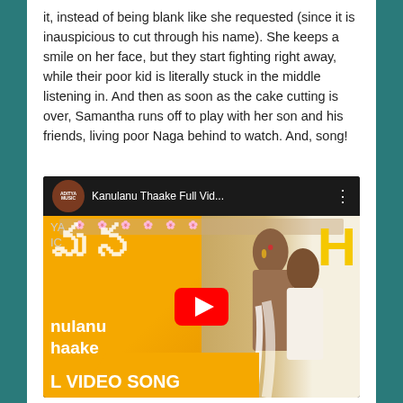it, instead of being blank like she requested (since it is inauspicious to cut through his name). She keeps a smile on her face, but they start fighting right away, while their poor kid is literally stuck in the middle listening in. And then as soon as the cake cutting is over, Samantha runs off to play with her son and his friends, living poor Naga behind to watch. And, song!
[Figure (screenshot): YouTube video thumbnail for 'Kanulanu Thaake Full Vid...' showing two people (man and woman) with orange Telugu movie poster design, text 'nulanu thaake' and 'L VIDEO SONG'. Red YouTube play button in center. Aditya Music logo in top bar.]